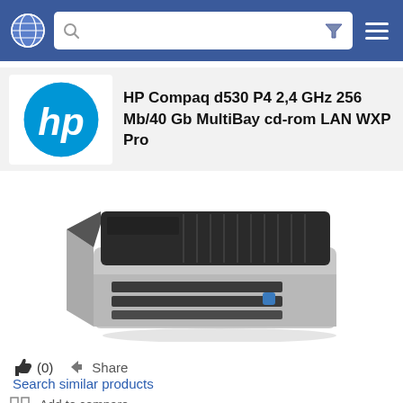Navigation bar with globe icon, search field, filter icon, and menu icon
HP Compaq d530 P4 2,4 GHz 256 Mb/40 Gb MultiBay cd-rom LAN WXP Pro
[Figure (photo): HP Compaq d530 compact desktop computer, silver and black color, slim form factor, shown in 3/4 front view]
(0)
Share
Search similar products
Add to compare
Share footer bar